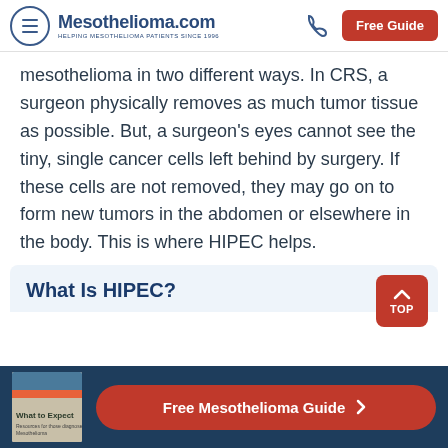Mesothelioma.com — HELPING MESOTHELIOMA PATIENTS SINCE 1996 | Free Guide
mesothelioma in two different ways. In CRS, a surgeon physically removes as much tumor tissue as possible. But, a surgeon's eyes cannot see the tiny, single cancer cells left behind by surgery. If these cells are not removed, they may go on to form new tumors in the abdomen or elsewhere in the body. This is where HIPEC helps.
What Is HIPEC?
[Figure (photo): Book cover: 'What to Expect — Resources for those diagnosed with Mesothelioma']
Free Mesothelioma Guide >